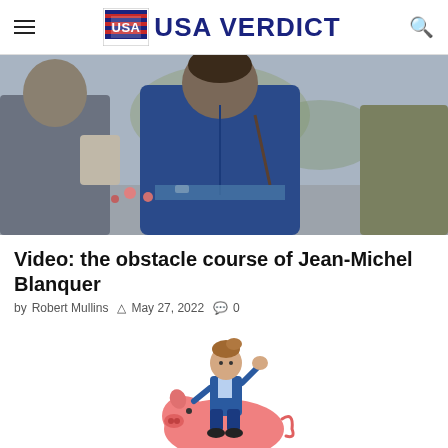USA VERDICT
[Figure (photo): Photo of a woman in a dark blue jacket surrounded by people outdoors]
Video: the obstacle course of Jean-Michel Blanquer
by Robert Mullins  May 27, 2022  0
[Figure (illustration): Illustration of a man in a blue suit riding atop a large pink pig]